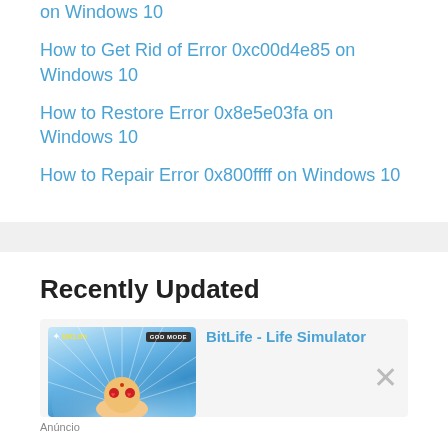on Windows 10
How to Get Rid of Error 0xc00d4e85 on Windows 10
How to Restore Error 0x8e5e03fa on Windows 10
How to Repair Error 0x800ffff on Windows 10
Recently Updated
[Figure (screenshot): BitLife - Life Simulator app advertisement with cartoon character and GOD MODE badge]
Anúncio